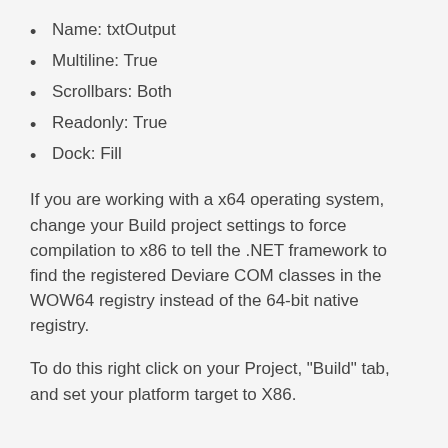Name: txtOutput
Multiline: True
Scrollbars: Both
Readonly: True
Dock: Fill
If you are working with a x64 operating system, change your Build project settings to force compilation to x86 to tell the .NET framework to find the registered Deviare COM classes in the WOW64 registry instead of the 64-bit native registry.
To do this right click on your Project, "Build" tab, and set your platform target to X86.